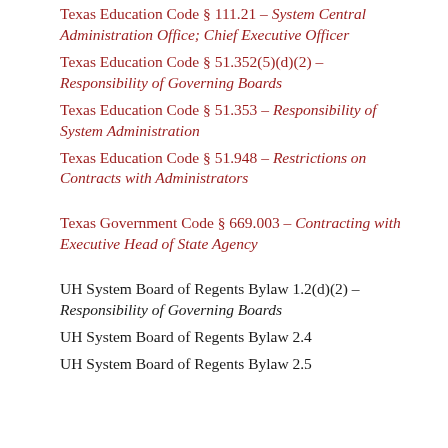Texas Education Code § 111.21 – System Central Administration Office; Chief Executive Officer
Texas Education Code § 51.352(5)(d)(2) – Responsibility of Governing Boards
Texas Education Code § 51.353 – Responsibility of System Administration
Texas Education Code § 51.948 – Restrictions on Contracts with Administrators
Texas Government Code § 669.003 – Contracting with Executive Head of State Agency
UH System Board of Regents Bylaw 1.2(d)(2) – Responsibility of Governing Boards
UH System Board of Regents Bylaw 2.4
UH System Board of Regents Bylaw 2.5